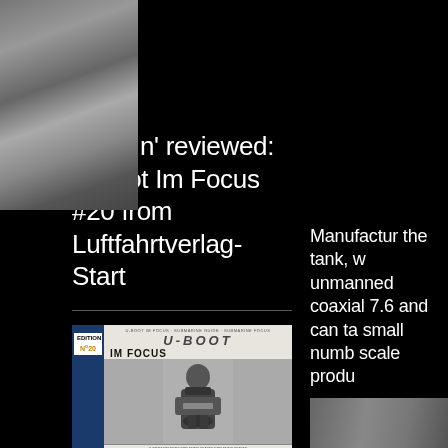[Figure (photo): Aerial or landscape photo, greyscale, top right area — appears to show a shoreline or terrain from above]
Read n' reviewed: U-boot Im Focus #20 from Luftfahrtverlag-Start
[Figure (photo): Book cover of U-boot Im Focus Edition No. 20, showing a man in naval uniform eating from a bowl, published by START]
Manufactur the tank, w unmanned coaxial 7.6 and can ta small numb scale prod